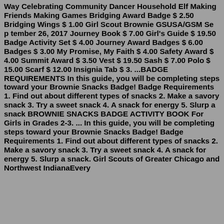Way Celebrating Community Dancer Household Elf Making Friends Making Games Bridging Award Badge $ 2.50 Bridging Wings $ 1.00 Girl Scout Brownie GSUSA/GSM Se p tember 26, 2017 Journey Book $ 7.00 Girl's Guide $ 19.50 Badge Activity Set $ 4.00 Journey Award Badges $ 6.00 Badges $ 3.00 My Promise, My Faith $ 4.00 Safety Award $ 4.00 Summit Award $ 3.50 Vest $ 19.50 Sash $ 7.00 Polo $ 15.00 Scarf $ 12.00 Insignia Tab $ 3. ...BADGE REQUIREMENTS In this guide, you will be completing steps toward your Brownie Snacks Badge! Badge Requirements 1. Find out about different types of snacks 2. Make a savory snack 3. Try a sweet snack 4. A snack for energy 5. Slurp a snack BROWNIE SNACKS BADGE ACTIVITY BOOK For Girls in Grades 2-3. ... In this guide, you will be completing steps toward your Brownie Snacks Badge! Badge Requirements 1. Find out about different types of snacks 2. Make a savory snack 3. Try a sweet snack 4. A snack for energy 5. Slurp a snack. Girl Scouts of Greater Chicago and Northwest IndianaEvery